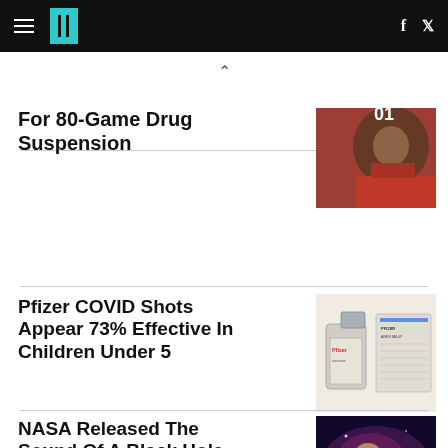HuffPost navigation bar with hamburger menu, logo, Facebook and Twitter icons
For 80-Game Drug Suspension
[Figure (photo): Man in red shirt, partial face visible, appears to be a sports news article image]
Pfizer COVID Shots Appear 73% Effective In Children Under 5
[Figure (photo): Pfizer COVID vaccine vial and vaccination record card on white background]
NASA Released The Sound Of A Black Hole And It's
[Figure (photo): Deep space nebula image with purple and red hues and bright star cluster]